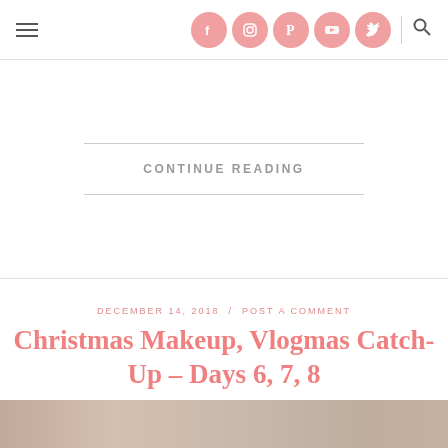Navigation header with hamburger menu, social icons (Facebook, Instagram, Pinterest, YouTube, Twitter), and search icon
CONTINUE READING
DECEMBER 14, 2018 / POST A COMMENT
Christmas Makeup, Vlogmas Catch-Up – Days 6, 7, 8
[Figure (photo): Bottom strip of a photo showing a person's face/hair, partially cropped]